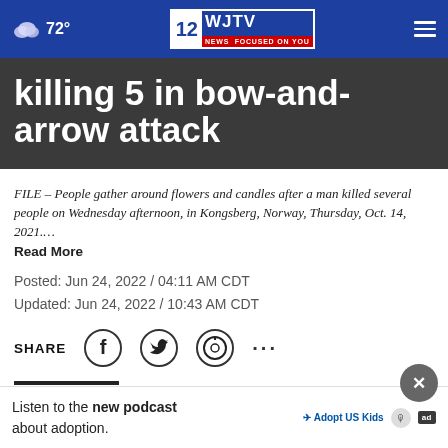72° | WJTV 12 News Focused On You
killing 5 in bow-and-arrow attack
FILE – People gather around flowers and candles after a man killed several people on Wednesday afternoon, in Kongsberg, Norway, Thursday, Oct. 14, 2021.… Read More
Posted: Jun 24, 2022 / 04:11 AM CDT
Updated: Jun 24, 2022 / 10:43 AM CDT
SHARE
COPE... guilty... or
Listen to the new podcast about adoption.